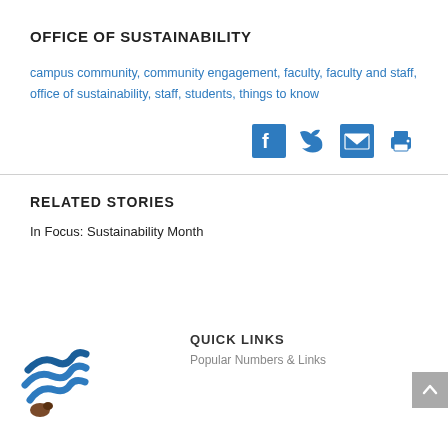OFFICE OF SUSTAINABILITY
campus community, community engagement, faculty, faculty and staff, office of sustainability, staff, students, things to know
[Figure (infographic): Social share icons: Facebook, Twitter, Email, Print]
RELATED STORIES
In Focus: Sustainability Month
[Figure (logo): University logo with blue wave/feather shapes]
QUICK LINKS
Popular Numbers & Links